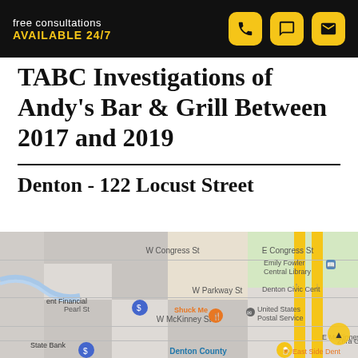free consultations AVAILABLE 24/7
TABC Investigations of Andy's Bar & Grill Between 2017 and 2019
Denton - 122 Locust Street
[Figure (map): Google Maps view of Denton, TX area around 122 Locust Street, showing W Congress St, E Congress St, W Parkway St, W McKinney St, E McKinney St, Pearl St, and landmarks including Emily Fowler Central Library, Denton Civic Center, United States Postal Service, Shuck Me restaurant, State Bank, and Denton County.]